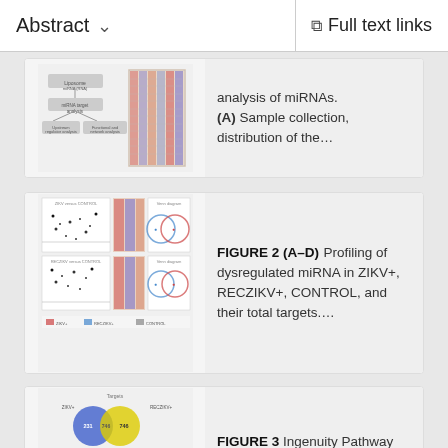Abstract   ˅          Full text links
[Figure (other): Partial figure showing liposome miRNA and network analysis diagrams with heatmap]
analysis of miRNAs. (A) Sample collection, distribution of the…
[Figure (other): Figure 2 (A-D): Volcano plots, Venn diagrams, and scatter plots related to dysregulated miRNA profiling]
FIGURE 2 (A–D) Profiling of dysregulated miRNA in ZIKV+, RECZIKV+, CONTROL, and their total targets….
[Figure (other): Figure 3: Venn diagram and horizontal bar chart for Ingenuity Pathway Analysis]
FIGURE 3 Ingenuity Pathway Analysis (IPA) canonical pathways most…